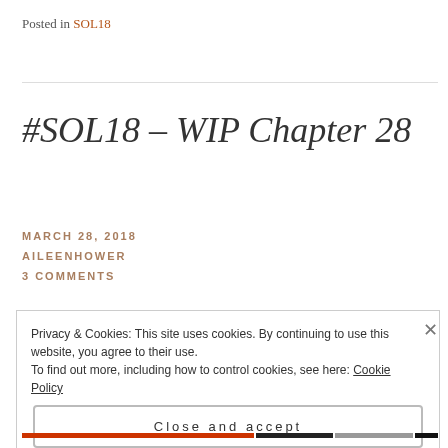Posted in SOL18
#SOL18 – WIP Chapter 28
MARCH 28, 2018
AILEENHOWER
3 COMMENTS
Privacy & Cookies: This site uses cookies. By continuing to use this website, you agree to their use.
To find out more, including how to control cookies, see here: Cookie Policy
Close and accept